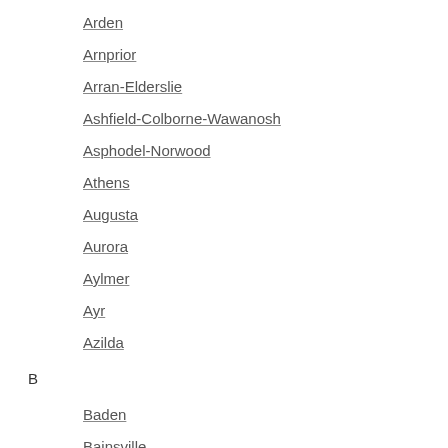Arden
Arnprior
Arran-Elderslie
Ashfield-Colborne-Wawanosh
Asphodel-Norwood
Athens
Augusta
Aurora
Aylmer
Ayr
Azilda
B
Baden
Bainsville
Balderson
Baltimore